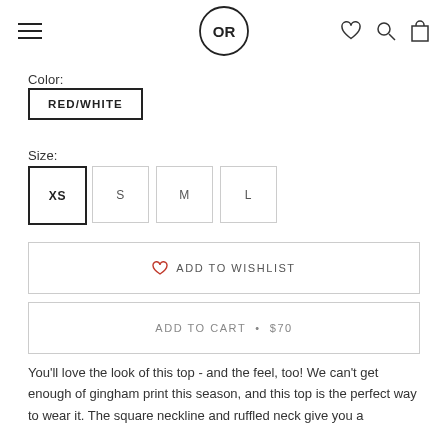OR (logo) / heart / search / cart icons navigation
Color:
RED/WHITE
Size:
XS
S
M
L
ADD TO WISHLIST
ADD TO CART • $70
You'll love the look of this top - and the feel, too! We can't get enough of gingham print this season, and this top is the perfect way to wear it. The square neckline and ruffled neck give you a